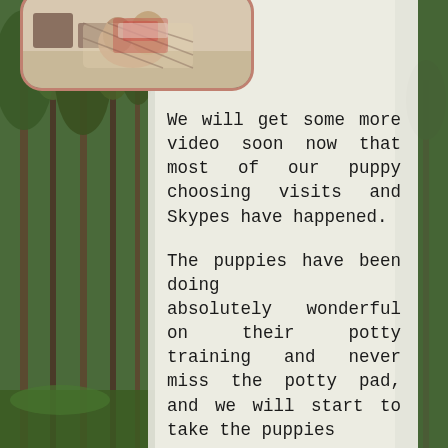[Figure (photo): Photo of puppies or dogs in an indoor setting, shown inside a rounded rectangle with a reddish-brown border at the top of the content card]
We will get some more video soon now that most of our puppy choosing visits and Skypes have happened.
The puppies have been doing absolutely wonderful on their potty training and never miss the potty pad, and we will start to take the puppies